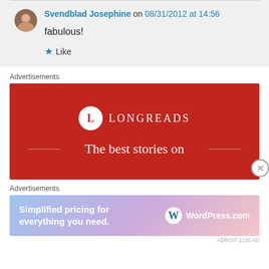Svendblad Josephine on 08/31/2012 at 14:56
fabulous!
Like
Advertisements
[Figure (advertisement): Longreads advertisement on red background with logo and tagline 'The best stories on']
Advertisements
[Figure (advertisement): WordPress.com advertisement with gradient background: 'Simplified pricing for everything you need.']